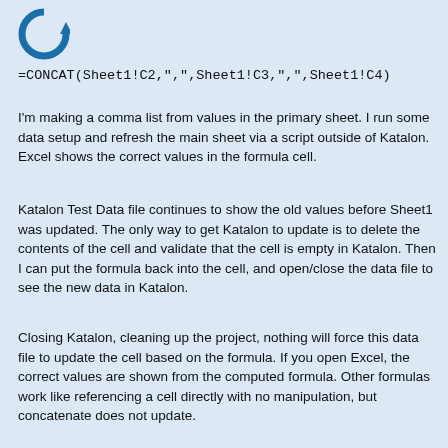[Figure (logo): Circular logo with a blue circular arrow icon on a light blue background]
I'm making a comma list from values in the primary sheet. I run some data setup and refresh the main sheet via a script outside of Katalon. Excel shows the correct values in the formula cell.
Katalon Test Data file continues to show the old values before Sheet1 was updated. The only way to get Katalon to update is to delete the contents of the cell and validate that the cell is empty in Katalon. Then I can put the formula back into the cell, and open/close the data file to see the new data in Katalon.
Closing Katalon, cleaning up the project, nothing will force this data file to update the cell based on the formula. If you open Excel, the correct values are shown from the computed formula. Other formulas work like referencing a cell directly with no manipulation, but concatenate does not update.